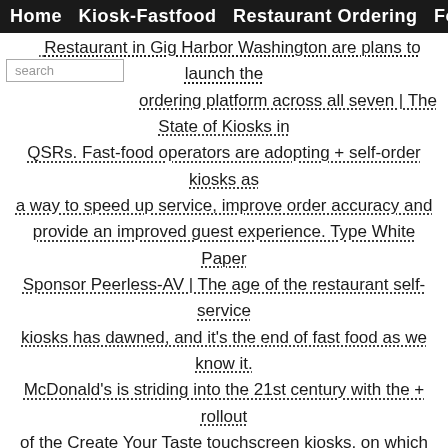Home  Kiosk-Fastfood  Restaurant Ordering  Foodcart
Restaurant in Gig Harbor Washington are plans to launch the ordering platform across all seven | The State of Kiosks in QSRs. Fast-food operators are adopting + self-order kiosks as a way to speed up service, improve order accuracy and provide an improved guest experience. Type White Paper Sponsor Peerless-AV | The age of the restaurant self-service kiosks has dawned, and it's the end of fast food as we know it. McDonald's is striding into the 21st century with the + rollout of the Create Your Taste touchscreen kiosks, on which custom burgers can be built as well as full-menu ordering. The kiosks are incredibly ... | Hungry customers going into a fast food or quick-serve restaurant may have already seen a new addition self ordering kiosks. Industry giant McDonald's + made headlines in 2016 when it introduced a touchscreen kiosk that allows customers to order existing menu items or even create a custom burger. | McDonald's on + Thursday